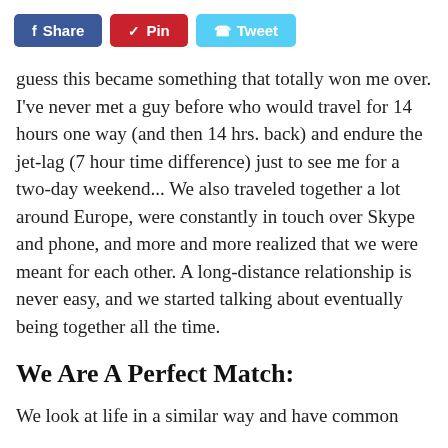[Figure (other): Social sharing buttons: Facebook Share (blue), Pinterest Pin (red), Twitter Tweet (light blue)]
guess this became something that totally won me over. I've never met a guy before who would travel for 14 hours one way (and then 14 hrs. back) and endure the jet-lag (7 hour time difference) just to see me for a two-day weekend... We also traveled together a lot around Europe, were constantly in touch over Skype and phone, and more and more realized that we were meant for each other. A long-distance relationship is never easy, and we started talking about eventually being together all the time.
We Are A Perfect Match:
We look at life in a similar way and have common